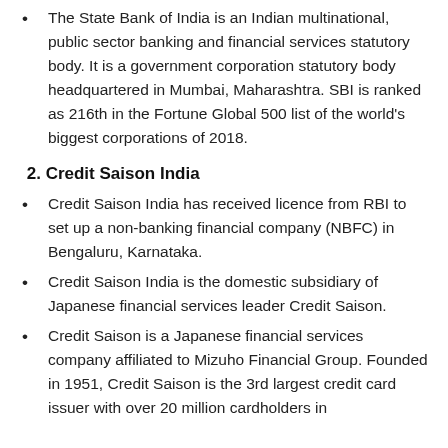The State Bank of India is an Indian multinational, public sector banking and financial services statutory body. It is a government corporation statutory body headquartered in Mumbai, Maharashtra. SBI is ranked as 216th in the Fortune Global 500 list of the world's biggest corporations of 2018.
2. Credit Saison India
Credit Saison India has received licence from RBI to set up a non-banking financial company (NBFC) in Bengaluru, Karnataka.
Credit Saison India is the domestic subsidiary of Japanese financial services leader Credit Saison.
Credit Saison is a Japanese financial services company affiliated to Mizuho Financial Group. Founded in 1951, Credit Saison is the 3rd largest credit card issuer with over 20 million cardholders in...